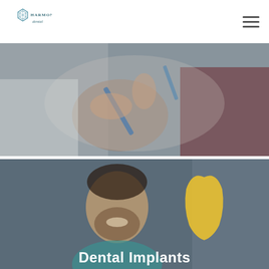Harmony Dental
[Figure (photo): Close-up photo of a dental professional in white coat and a patient in red shirt, handling a blue dental tool/brush and a tooth model]
[Figure (photo): Photo of a smiling bearded man (patient) with a yellow tooth model visible beside him, partially visible text 'Dental Implants' at the bottom]